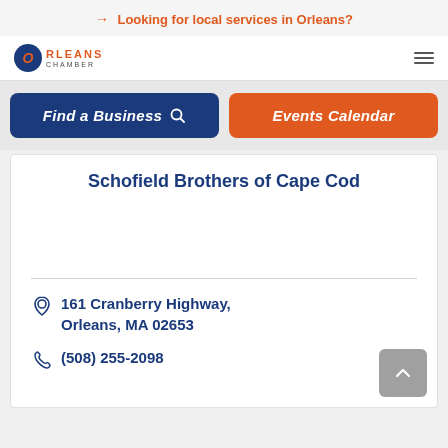→ Looking for local services in Orleans?
[Figure (logo): Orleans Chamber logo with blue circle and orange O letter, orange ORLEANS text and grey CHAMBER text]
Find a Business 🔍
Events Calendar
Schofield Brothers of Cape Cod
161 Cranberry Highway, Orleans, MA 02653
(508) 255-2098